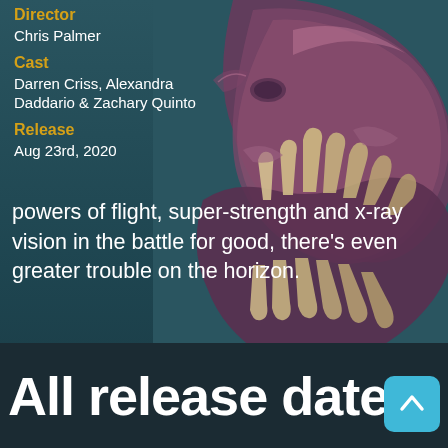Director
Chris Palmer
Cast
Darren Criss, Alexandra Daddario & Zachary Quinto
Release
Aug 23rd, 2020
powers of flight, super-strength and x-ray vision in the battle for good, there's even greater trouble on the horizon.
Superman: Man of Tomorrow is directed by Chris Palmer and was released on Aug 23rd, 2020.
[Figure (illustration): Monster/creature skull and jaw illustration with sharp fangs, colored in purple/pink tones against a teal background]
All release dates
[Figure (other): Scroll-up button (blue square with upward arrow icon)]